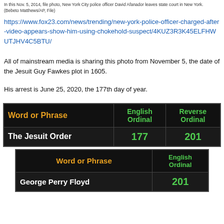In this Nov. 5, 2014, file photo, New York City police officer David Afanador leaves state court in New York. (Bebeto Matthews/AP, File)
https://www.fox23.com/news/trending/new-york-police-officer-charged-after-video-appears-show-him-using-chokehold-suspect/4KUZ3R3K45ELFHWUTJHV4C5BTU/
All of mainstream media is sharing this photo from November 5, the date of the Jesuit Guy Fawkes plot in 1605.
His arrest is June 25, 2020, the 177th day of year.
| Word or Phrase | English Ordinal | Reverse Ordinal |
| --- | --- | --- |
| The Jesuit Order | 177 | 201 |
| Word or Phrase | English Ordinal |
| --- | --- |
| George Perry Floyd | 201 |